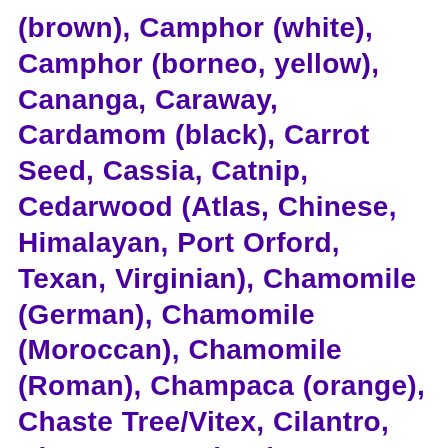(brown), Camphor (white), Camphor (borneo, yellow), Cananga, Caraway, Cardamom (black), Carrot Seed, Cassia, Catnip, Cedarwood (Atlas, Chinese, Himalayan, Port Orford, Texan, Virginian), Chamomile (German), Chamomile (Moroccan), Chamomile (Roman), Champaca (orange), Chaste Tree/Vitex, Cilantro, Cinnamon Bark, Cinnamon Leaf, Cistus, Citronella, Clary Sage, Clementine, Clove, Coffee, Copaiba, Coriander, Costus, Cumin, Cypress, Cypriol, Cypress (Blue), Damiana, Davana, Dill Seed (European, Indian), Dill Seed, Elemi, Eucalyptus (globulus, macarthurii, polybractea, radiata, smithii), Eucalyptus (Peppermint), Fennel (Bitter), Fennel (Sweet), Fir (Douglas), Fir Cones (Silver), Fir Needle (Canadian, Japanese...